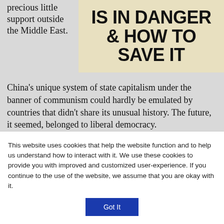precious little support outside the Middle East.
[Figure (illustration): Book cover with bold text reading 'IS IN DANGER & HOW TO SAVE IT' on a cream/tan background]
China's unique system of state capitalism under the banner of communism could hardly be emulated by countries that didn't share its unusual history. The future, it seemed, belonged to liberal democracy.
The idea that democracy was sure to triumph has come to
This website uses cookies that help the website function and to help us understand how to interact with it. We use these cookies to provide you with improved and customized user-experience. If you continue to the use of the website, we assume that you are okay with it.
Got It